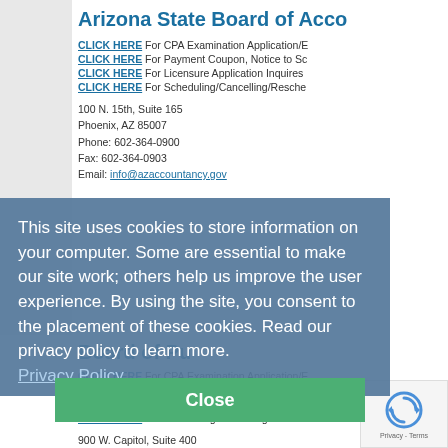Arizona State Board of Acco
CLICK HERE For CPA Examination Application/E
CLICK HERE For Payment Coupon, Notice to Sc
CLICK HERE For Licensure Application Inquires
CLICK HERE For Scheduling/Cancelling/Resche
100 N. 15th, Suite 165
Phoenix, AZ 85007
Phone: 602-364-0900
Fax: 602-364-0903
Email: info@azaccountancy.gov
This site uses cookies to store information on your computer. Some are essential to make our site work; others help us improve the user experience. By using the site, you consent to the placement of these cookies. Read our privacy policy to learn more.
Privacy Policy
Board of Pu
CLICK HERE For CPA Examination Application/E
CLICK HERE For Payment Coupon, Notice to Sc
CLICK HERE For Licensure Application Inquires
CLICK HERE For Scheduling/Cancelling/Resche
900 W. Capitol, Suite 400
Little Rock, AR 72201
Phone: 501-682-1520
Fax: 501-682-5538
Email: asbpa@arkansas.gov
Close